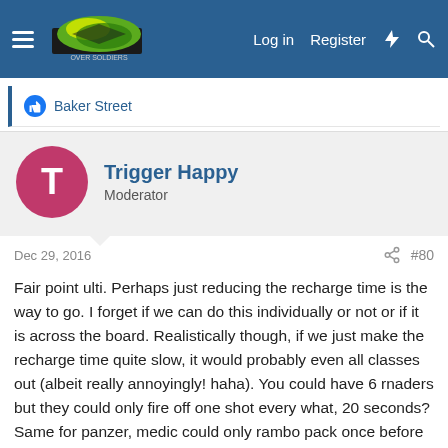Log in  Register
Baker Street
Trigger Happy
Moderator
Dec 29, 2016  #80
Fair point ulti. Perhaps just reducing the recharge time is the way to go. I forget if we can do this individually or not or if it is across the board. Realistically though, if we just make the recharge time quite slow, it would probably even all classes out (albeit really annoyingly! haha). You could have 6 rnaders but they could only fire off one shot every what, 20 seconds? Same for panzer, medic could only rambo pack once before they are screwed and have to hide for ages. Arty would only be able to be called once every few minutes through binocs and so on.

Adren could be a bit overkill, unless again we make some